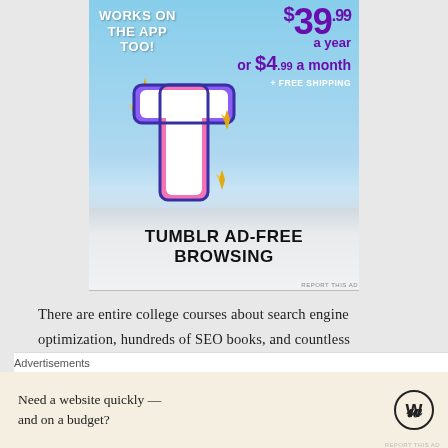[Figure (infographic): Tumblr Ad-Free Browsing advertisement banner showing the Tumblr 't' logo with sparkles on a sky background, pricing $39.99 a year or $4.99 a month + FREE SHIPPING, and text 'WORKS ON THE APP TOO!']
There are entire college courses about search engine optimization, hundreds of SEO books, and countless websites and posts with the latest SEO tricks.  This blog post is only
Advertisements
[Figure (infographic): WordPress advertisement: 'Need a website quickly — and on a budget?' with WordPress logo]